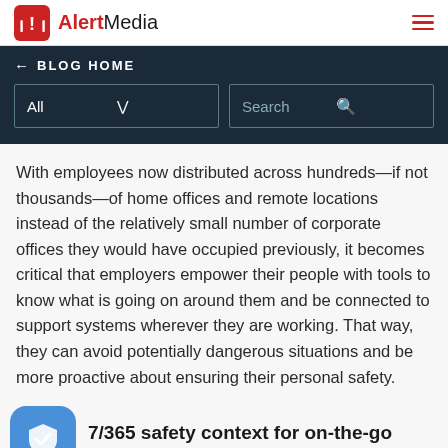AlertMedia
← BLOG HOME
With employees now distributed across hundreds—if not thousands—of home offices and remote locations instead of the relatively small number of corporate offices they would have occupied previously, it becomes critical that employers empower their people with tools to know what is going on around them and be connected to support systems wherever they are working. That way, they can avoid potentially dangerous situations and be more proactive about ensuring their personal safety.
7/365 safety context for on-the-go workers